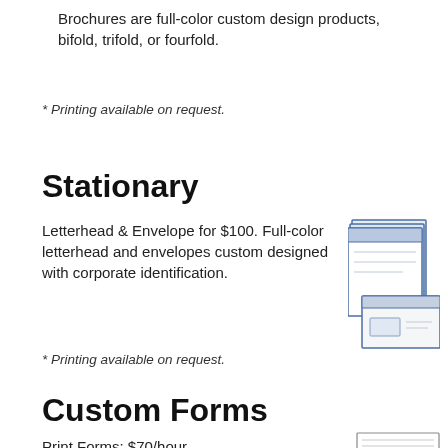Brochures are full-color custom design products, bifold, trifold, or fourfold.
* Printing available on request.
Stationary
Letterhead & Envelope for $100. Full-color letterhead and envelopes custom designed with corporate identification.
[Figure (illustration): Illustration of stationery showing letterhead pages and envelope with blue borders]
* Printing available on request.
Custom Forms
Print Forms: $70/hour
[Figure (illustration): Illustration of a custom form document]